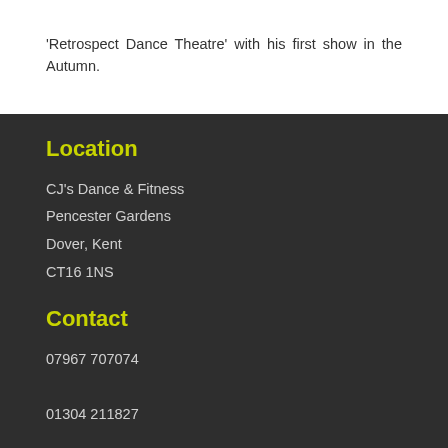'Retrospect Dance Theatre' with his first show in the Autumn.
Location
CJ's Dance & Fitness
Pencester Gardens
Dover, Kent
CT16 1NS
Contact
07967 707074

01304 211827

info@cjsdanceandfitness.co.uk